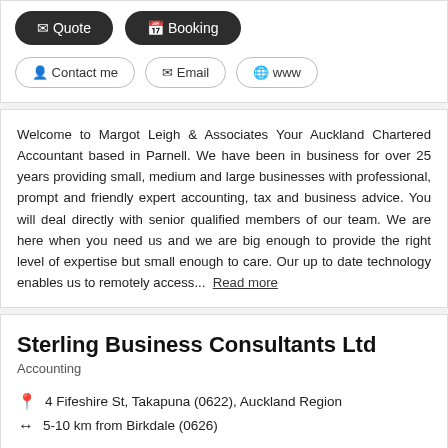[Figure (screenshot): Two dark pill buttons: Quote (with envelope icon) and Booking (with calendar icon)]
[Figure (screenshot): Three light outline pill buttons: Contact me (with person icon), Email (with envelope icon), www (with globe icon)]
Welcome to Margot Leigh & Associates Your Auckland Chartered Accountant based in Parnell. We have been in business for over 25 years providing small, medium and large businesses with professional, prompt and friendly expert accounting, tax and business advice. You will deal directly with senior qualified members of our team. We are here when you need us and we are big enough to provide the right level of expertise but small enough to care. Our up to date technology enables us to remotely access...  Read more
Sterling Business Consultants Ltd
Accounting
4 Fifeshire St, Takapuna (0622), Auckland Region
5-10 km from Birkdale (0626)